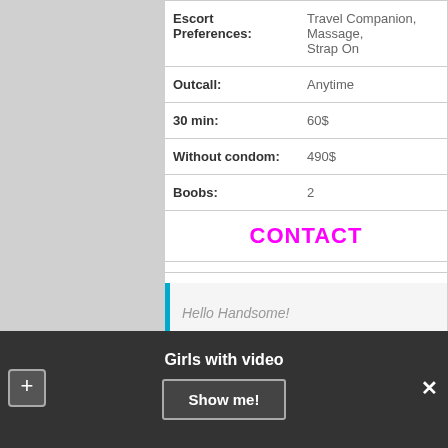| Label | Value |
| --- | --- |
| Escort Preferences: | Travel Companion, Massage, Strap On |
| Outcall: | Anytime |
| 30 min: | 60$ |
| Without condom: | 490$ |
| Boobs: | 2 |
CONTACT
Hello Handsome!
Megan
Girls with video
Show me!